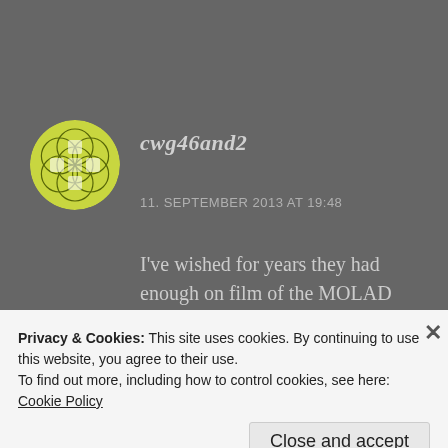[Figure (illustration): Circular avatar with green/yellow geometric pattern (flower-of-life style) on white background]
cwg46and2
11. SEPTEMBER 2013 AT 19:48
I've wished for years they had enough on film of the MOLAD Tour to give it a proper release. Download 2007 is fine and all, but the tour set list is what I prefer. The Legacy was often one of
Privacy & Cookies: This site uses cookies. By continuing to use this website, you agree to their use.
To find out more, including how to control cookies, see here: Cookie Policy
Close and accept